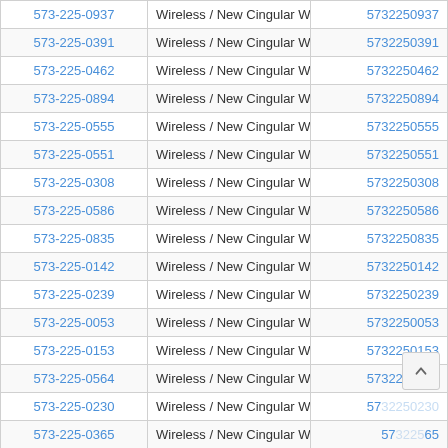| Phone | Carrier | ID |
| --- | --- | --- |
| 573-225-0937 | Wireless / New Cingular Wireless PCS - IL | 5732250937 |
| 573-225-0391 | Wireless / New Cingular Wireless PCS - IL | 5732250391 |
| 573-225-0462 | Wireless / New Cingular Wireless PCS - IL | 5732250462 |
| 573-225-0894 | Wireless / New Cingular Wireless PCS - IL | 5732250894 |
| 573-225-0555 | Wireless / New Cingular Wireless PCS - IL | 5732250555 |
| 573-225-0551 | Wireless / New Cingular Wireless PCS - IL | 5732250551 |
| 573-225-0308 | Wireless / New Cingular Wireless PCS - IL | 5732250308 |
| 573-225-0586 | Wireless / New Cingular Wireless PCS - IL | 5732250586 |
| 573-225-0835 | Wireless / New Cingular Wireless PCS - IL | 5732250835 |
| 573-225-0142 | Wireless / New Cingular Wireless PCS - IL | 5732250142 |
| 573-225-0239 | Wireless / New Cingular Wireless PCS - IL | 5732250239 |
| 573-225-0053 | Wireless / New Cingular Wireless PCS - IL | 5732250053 |
| 573-225-0153 | Wireless / New Cingular Wireless PCS - IL | 5732250153 |
| 573-225-0564 | Wireless / New Cingular Wireless PCS - IL | 5732250564 |
| 573-225-0230 | Wireless / New Cingular Wireless PCS - IL | 5732250230 |
| 573-225-0365 | Wireless / New Cingular Wireless PCS - IL | 5732250365 |
| 573-225-0126 | Wireless / New Cingular Wireless PCS - IL | 5732250126 |
| 573-225-0728 | Wireless / New Cingular Wireless PCS - IL | 5732250728 |